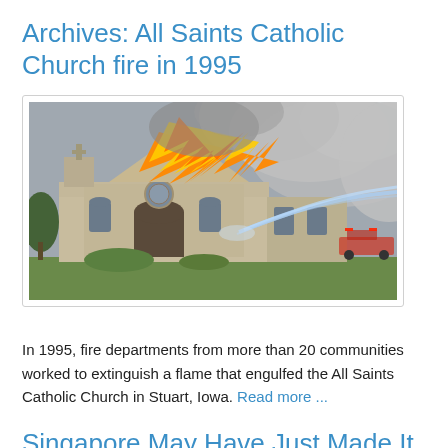Archives: All Saints Catholic Church fire in 1995
[Figure (photo): Photograph of All Saints Catholic Church engulfed in flames with fire and smoke billowing from the roof, and a firefighter water stream visible on the right side of the building.]
In 1995, fire departments from more than 20 communities worked to extinguish a flame that engulfed the All Saints Catholic Church in Stuart, Iowa. Read more ...
Singapore May Have Just Made It Harder for LGBTQ People to Buy